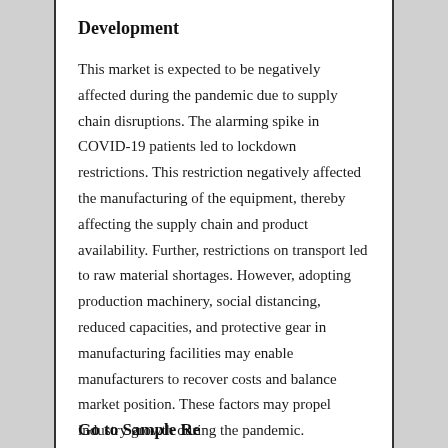Development
This market is expected to be negatively affected during the pandemic due to supply chain disruptions. The alarming spike in COVID-19 patients led to lockdown restrictions. This restriction negatively affected the manufacturing of the equipment, thereby affecting the supply chain and product availability. Further, restrictions on transport led to raw material shortages. However, adopting production machinery, social distancing, reduced capacities, and protective gear in manufacturing facilities may enable manufacturers to recover costs and balance market position. These factors may propel industry growth during the pandemic.
Go to Sample Report